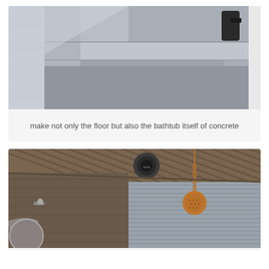[Figure (photo): Close-up photograph of a concrete bathtub with concrete floor, showing smooth grey concrete surfaces with geometric edges and steps. A black object (possibly a faucet or accessory) is visible in the upper right corner.]
make not only the floor but also the bathtub itself of concrete
[Figure (photo): Interior photograph of a rustic bathroom with wood plank ceiling, corrugated metal walls, a round ceiling-mounted vent/light, a copper rain shower head hanging from chain, a wall-mounted light fixture, and a round mirror partially visible on the left.]